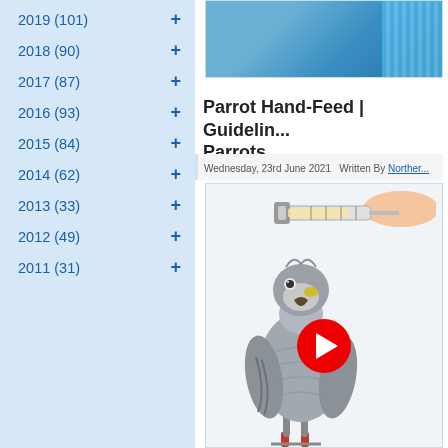2019 (101) +
2018 (90) +
2017 (87) +
2016 (93) +
2015 (84) +
2014 (62) +
2013 (33) +
2012 (49) +
2011 (31) +
[Figure (photo): Partial photo showing blue gloves or fabric, top image cropped]
Parrot Hand-Feed | Guidelin... Parrots
Wednesday, 23rd June 2021   Written By Norther...
[Figure (photo): Photo of a grey African parrot being hand-fed with a syringe, with a red video play button overlay]